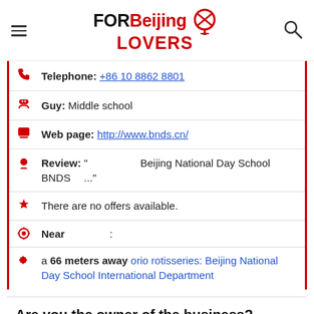FOR Beijing LOVERS
Telephone: +86 10 8862 8801
Guy: Middle school
Web page: http://www.bnds.cn/
Review: "　　　　　　　　　　Beijing National Day School　　　　BNDS　 ..."
There are no offers available.
Near 　　　　　:
a 66 meters away orio rotisseries: Beijing National Day School International Department
Are you the owner of the business? PROMOTE IT!